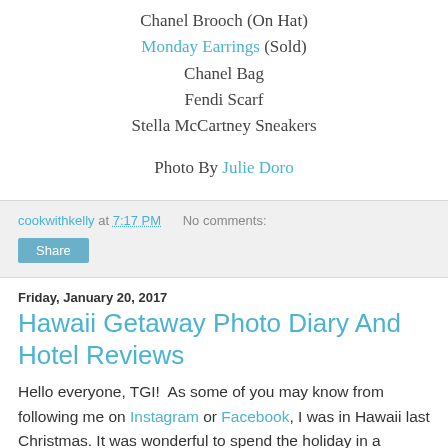Chanel Brooch (On Hat)
Monday Earrings (Sold)
Chanel Bag
Fendi Scarf
Stella McCartney Sneakers
Photo By Julie Doro
cookwithkelly at 7:17 PM   No comments:
Share
Friday, January 20, 2017
Hawaii Getaway Photo Diary And Hotel Reviews
Hello everyone, TGI!  As some of you may know from following me on Instagram or Facebook, I was in Hawaii last Christmas. It was wonderful to spend the holiday in a tropical island. Nothing is better than getting some relaxing time it...